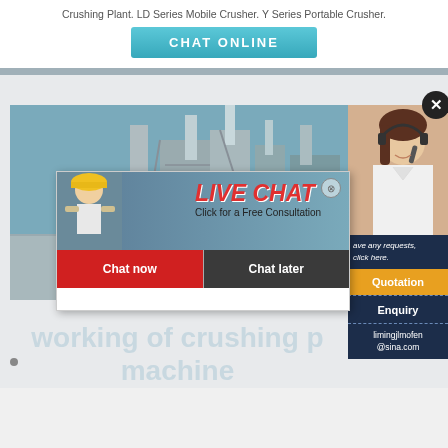Crushing Plant. LD Series Mobile Crusher. Y Series Portable Crusher.
[Figure (screenshot): CHAT ONLINE button with teal/cyan gradient background]
[Figure (screenshot): Website screenshot showing industrial crushing plant photo with a Live Chat popup overlay (LIVE CHAT heading in red italic, 'Click for a Free Consultation', 'Chat now' red button and 'Chat later' dark button), a right sidebar panel with a customer service woman photo, close X button, text 'ave any requests, click here.', Quotation button in orange, Enquiry button, and email limingjlmofen@sina.com on dark navy background.]
working of crushing plant machine